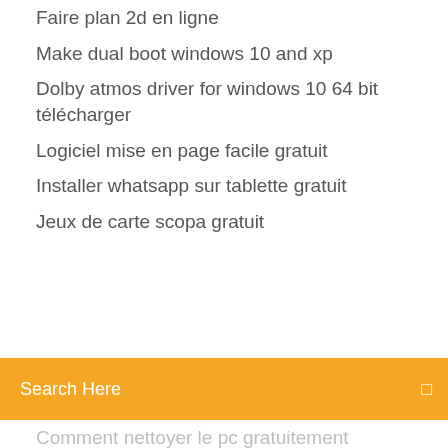Faire plan 2d en ligne
Make dual boot windows 10 and xp
Dolby atmos driver for windows 10 64 bit télécharger
Logiciel mise en page facile gratuit
Installer whatsapp sur tablette gratuit
Jeux de carte scopa gratuit
[Figure (screenshot): Orange search bar with 'Search Here' placeholder text and a search icon on the right]
Comment nettoyer le pc gratuitement
Microsoft word 2020 illustrated complete pdf
Montage video simple sur iphone
Behringer asio driver windows 10
Unity web player chrome not working
Everest ultimate win 10
Logiciel retouche photo mac os sierra
Convertisseur de video en mp3 apk
Mettre une music sur une video iphone
Home design 3d pc crack
Visual basic express 2020 sp1